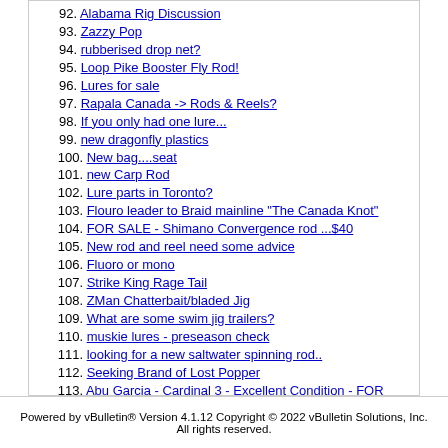92. Alabama Rig Discussion
93. Zazzy Pop
94. rubberised drop net?
95. Loop Pike Booster Fly Rod!
96. Lures for sale
97. Rapala Canada -> Rods & Reels?
98. If you only had one lure...
99. new dragonfly plastics
100. New bag....seat
101. new Carp Rod
102. Lure parts in Toronto?
103. Flouro leader to Braid mainline "The Canada Knot"
104. FOR SALE - Shimano Convergence rod ...$40
105. New rod and reel need some advice
106. Fluoro or mono
107. Strike King Rage Tail
108. ZMan Chatterbait/bladed Jig
109. What are some swim jig trailers?
110. muskie lures - preseason check
111. looking for a new saltwater spinning rod..
112. Seeking Brand of Lost Popper
113. Abu Garcia - Cardinal 3 - Excellent Condition - FOR SALE
114. Shimano Triton 300 XHS - Excellent Condition
115. Tackle up the ying-yang !!
Powered by vBulletin® Version 4.1.12 Copyright © 2022 vBulletin Solutions, Inc. All rights reserved.